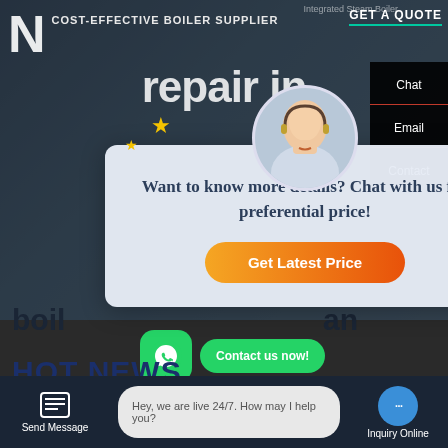[Figure (screenshot): Website banner with logo, 'COST-EFFECTIVE BOILER SUPPLIER' text, 'Integrated Steam Boiler' text, 'repair in' heading, and 'GET A QUOTE' button on dark building background]
[Figure (screenshot): Popup modal with customer service avatar, star decorations, text 'Want to know more details? Chat with us for preferential price!' and orange 'Get Latest Price' button]
Want to know more details? Chat with us for preferential price!
Get Latest Price
Chat
Email
Contact
Contact us now!
HOT NEWS
Hey, we are live 24/7. How may I help you?
Send Message
Inquiry Online